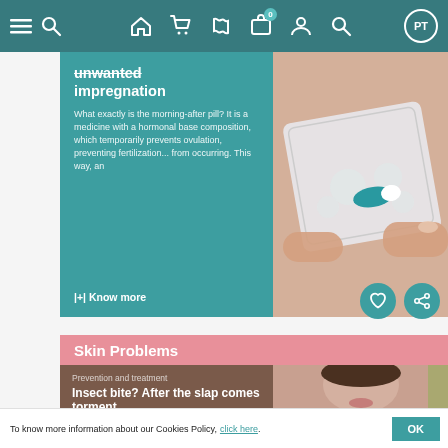Navigation bar with menu, search, home, cart, promotions, bag (0), account, search, PT icons
unwanted impregnation
What exactly is the morning-after pill? It is a medicine with a hormonal base composition, which temporarily prevents ovulation, preventing fertilization... from occurring. This way, an
|+| Know more
[Figure (photo): Hands holding a blister pack of pills, one blue and white capsule visible]
Skin Problems
Prevention and treatment
Insect bite? After the slap comes torment
As the temperature rises, insects
[Figure (photo): Close-up of a woman's face and neck]
To know more information about our Cookies Policy, click here.
OK